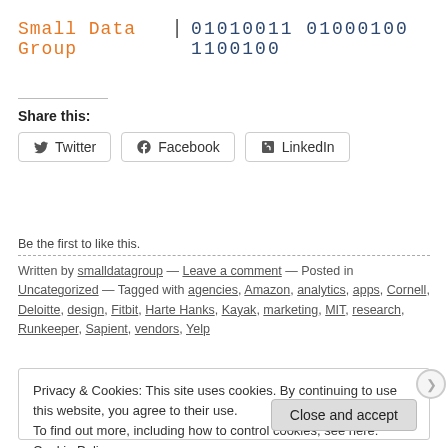Small Data Group | 01010011 01000100 1100100
Share this:
Twitter  Facebook  LinkedIn
Like
Be the first to like this.
Written by smalldatagroup — Leave a comment — Posted in Uncategorized — Tagged with agencies, Amazon, analytics, apps, Cornell, Deloitte, design, Fitbit, Harte Hanks, Kayak, marketing, MIT, research, Runkeeper, Sapient, vendors, Yelp
Privacy & Cookies: This site uses cookies. By continuing to use this website, you agree to their use. To find out more, including how to control cookies, see here: Cookie Policy
Close and accept